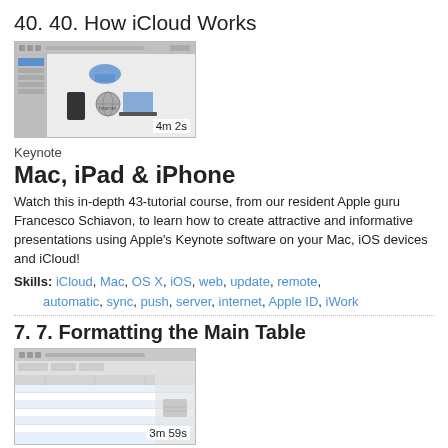40. 40. How iCloud Works
[Figure (screenshot): Screenshot thumbnail of iCloud tutorial video showing Mac interface with devices, duration 4m 2s]
Keynote
Mac, iPad & iPhone
Watch this in-depth 43-tutorial course, from our resident Apple guru Francesco Schiavon, to learn how to create attractive and informative presentations using Apple's Keynote software on your Mac, iOS devices and iCloud!
Skills: iCloud, Mac, OS X, iOS, web, update, remote, automatic, sync, push, server, internet, Apple ID, iWork
7. 7. Formatting the Main Table
[Figure (screenshot): Screenshot thumbnail of Numbers tutorial video showing spreadsheet interface, duration 3m 59s]
Numbers